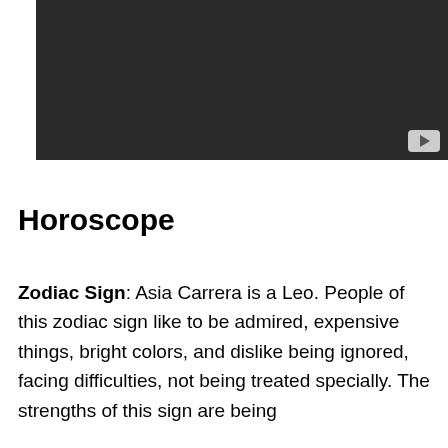[Figure (screenshot): Dark video player thumbnail with YouTube play button in bottom-right corner]
Horoscope
Zodiac Sign: Asia Carrera is a Leo. People of this zodiac sign like to be admired, expensive things, bright colors, and dislike being ignored, facing difficulties, not being treated specially. The strengths of this sign are being